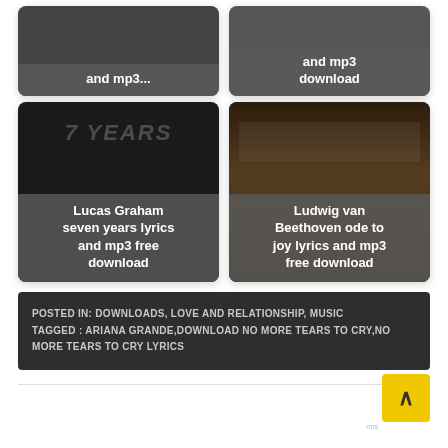[Figure (illustration): Card with dark background and text overlay partially visible at top: 'and mp3...']
[Figure (illustration): Card with dark background and text overlay partially visible at top: 'and mp3 download']
[Figure (illustration): Card with dark background showing '7 YEARS' watermark text and overlay: 'Lucas Graham seven years lyrics and mp3 free download']
[Figure (photo): Card with concert hall/orchestra photo and overlay: 'Ludwig van Beethoven ode to joy lyrics and mp3 free download']
POSTED IN: DOWNLOADS, LOVE AND RELATIONSHIP, MUSICTAGGED : ARIANA GRANDE,DOWNLOAD NO MORE TEARS TO CRY,NO MORE TEARS TO CRY LYRICS